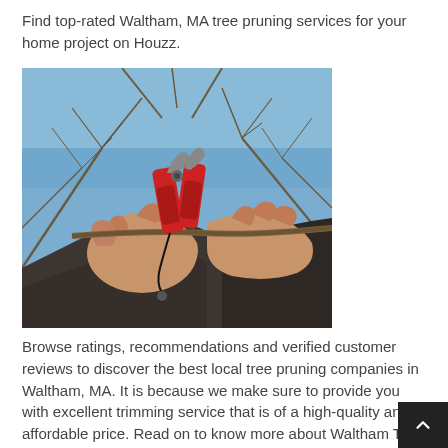Find top-rated Waltham, MA tree pruning services for your home project on Houzz.
[Figure (photo): Close-up photo of a person's hands using red pruning shears to cut a tree branch, with bare tree branches and a clear blue sky in the background.]
Browse ratings, recommendations and verified customer reviews to discover the best local tree pruning companies in Waltham, MA. It is because we make sure to provide you with excellent trimming service that is of a high-quality and affordable price. Read on to know more about Waltham Tree Trimming Service. Contact us to start your assessment!Search Waltham, MA tre services to find the best tree service professional for your pr